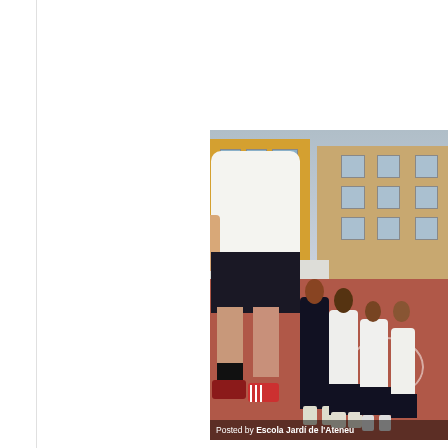[Figure (photo): Students in white shirts and dark shorts doing physical education activities on an outdoor basketball/sports court, with a yellow and beige apartment building visible in the background. A caption overlay reads 'Posted by Escola Jardí de l'Ateneu'.]